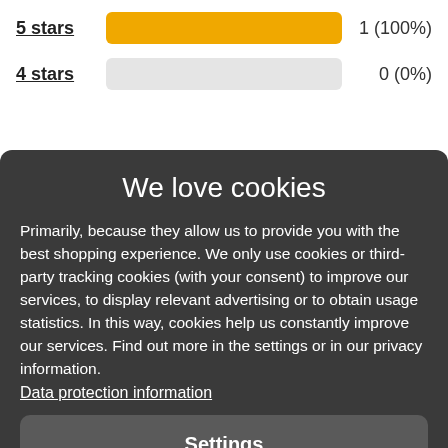[Figure (bar-chart): Star ratings]
We love cookies
Primarily, because they allow us to provide you with the best shopping experience. We only use cookies or third-party tracking cookies (with your consent) to improve our services, to display relevant advertising or to obtain usage statistics. In this way, cookies help us constantly improve our services. Find out more in the settings or in our privacy information. Data protection information
Settings
Reject all
Accept all